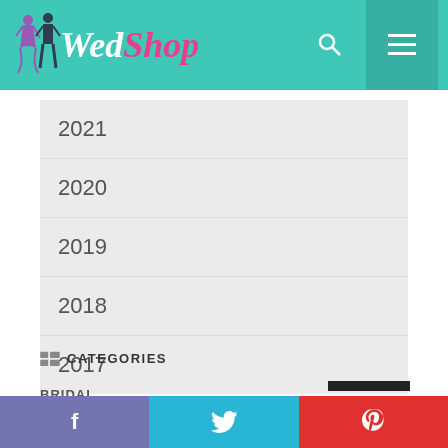WedShop
2021
2020
2019
2018
2017
CATEGORIES
BRIDAL
CATERING